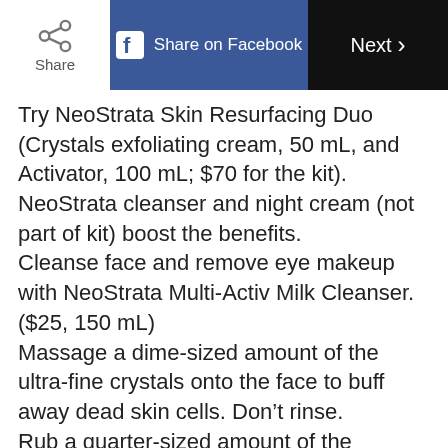Share | Share on Facebook | Next >
Try NeoStrata Skin Resurfacing Duo (Crystals exfoliating cream, 50 mL, and Activator, 100 mL; $70 for the kit). NeoStrata cleanser and night cream (not part of kit) boost the benefits.
Cleanse face and remove eye makeup with NeoStrata Multi-Activ Milk Cleanser. ($25, 150 mL)
Massage a dime-sized amount of the ultra-fine crystals onto the face to buff away dead skin cells. Don’t rinse.
Rub a quarter-sized amount of the
ADVERTISEMENT
[Figure (screenshot): Advertisement banner showing a game app with playing cards, colorful game pieces, numbers on a dark background, and a 'Play Free Games' button.]